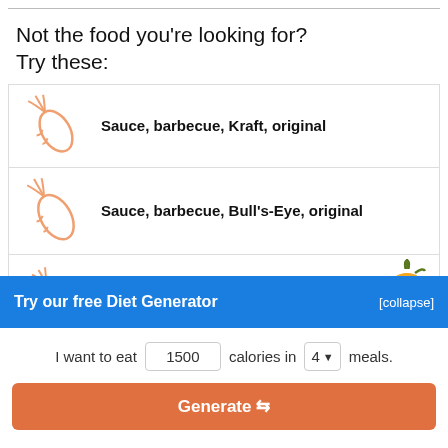Not the food you're looking for? Try these:
Sauce, barbecue, Kraft, original
Sauce, barbecue, Bull's-Eye, original
Sauce, barbecue, Kc Masterpiece, original
Try our free Diet Generator
[collapse]
I want to eat 1500 calories in 4 meals.
Generate